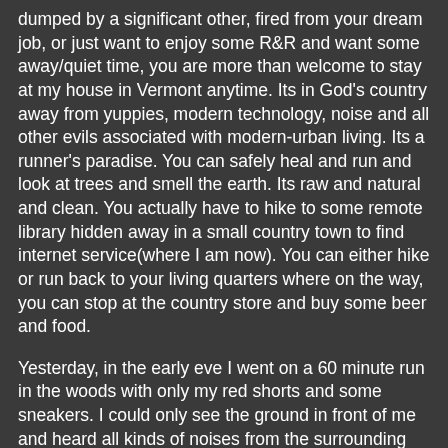dumped by a significant other, fired from your dream job, or just want to enjoy some R&R and want some away/quiet time, you are more than welcome to stay at my house in Vermont anytime. Its in God's country away from yuppies, modern technology, noise and all other evils associated with modern-urban living. Its a runner's paradise. You can safely heal and run and look at trees and smell the earth. Its raw and natural and clean. You actually have to hike to some remote library hidden away in a small country town to find internet service(where I am now). You can either hike or run back to your living quarters where on the way, you can stop at the country store and buy some beer and food.
Yesterday, in the early eve I went on a 60 minute run in the woods with only my red shorts and some sneakers. I could only see the ground in front of me and heard all kinds of noises from the surrounding trees as I scampered about. There were no cars, no lights or signs of humanity to guide or protect me. I could have been eaten by a bear or attacked by an owl, etc.
I may never leave.